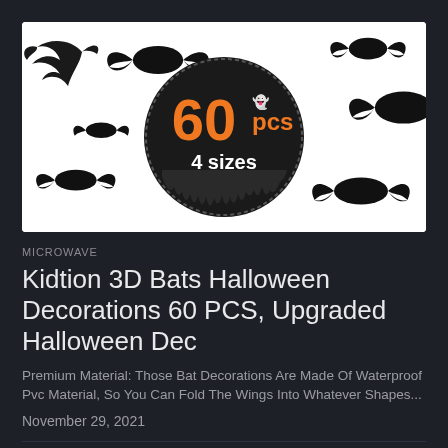[Figure (photo): Product image showing 60 pcs 3D Halloween bat decorations in 4 sizes. White background with black bat silhouettes and a circular badge showing '60 pcs' in orange and '4 sizes' in white text.]
MICROWAVE
Kidtion 3D Bats Halloween Decorations 60 PCS, Upgraded Halloween Dec
Premium Material: Those Bat Decorations Are Made Of Waterproof Pvc Material, So You Can Fold The Wings Into Whatever Shapes...
November 29, 2021
[Figure (photo): Partial bottom image showing a person in a pink/purple outfit, cropped at page bottom.]